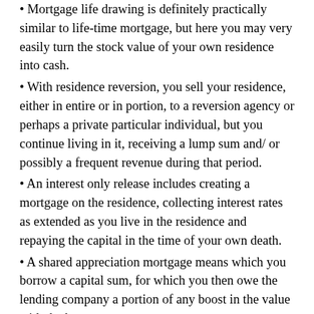• Mortgage life drawing is definitely practically similar to life-time mortgage, but here you may very easily turn the stock value of your own residence into cash.
• With residence reversion, you sell your residence, either in entire or in portion, to a reversion agency or perhaps a private particular individual, but you continue living in it, receiving a lump sum and/ or possibly a frequent revenue during that period.
• An interest only release includes creating a mortgage on the residence, collecting interest rates as extended as you live in the residence and repaying the capital in the time of your own death.
• A shared appreciation mortgage means which you borrow a capital sum, for which you then owe the lending company a portion of any boost in the value with the home.
A sixth type- the reverse mortgage- is actually readily available to citizens at or above the age of 62, giving such people access to a portion of their own equity